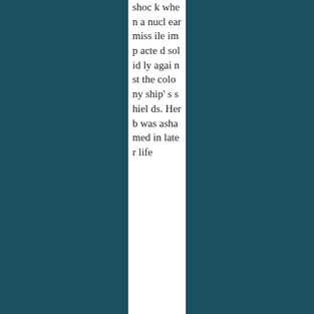shock when a nuclear missile impacted solidly against the colony ship's shields. Herb was ashamed in later life